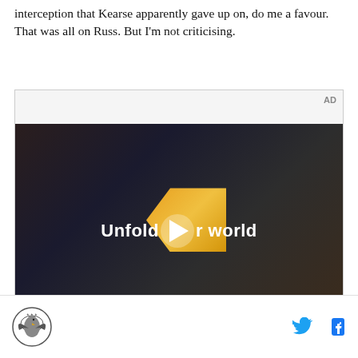interception that Kearse apparently gave up on, do me a favour. That was all on Russ. But I'm not criticising.
[Figure (screenshot): Advertisement video player showing a person holding a foldable phone in a car, with text overlay 'Unfold your world' and a play button. Labeled 'AD' in the top right.]
Footer with site logo (eagle emblem) on the left and Twitter and Facebook social icons on the right.